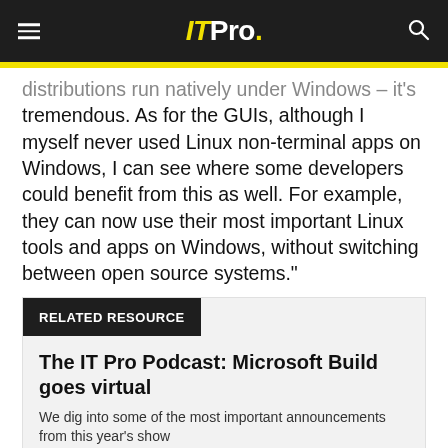IT Pro.
distributions run natively under Windows – it's tremendous. As for the GUIs, although I myself never used Linux non-terminal apps on Windows, I can see where some developers could benefit from this as well. For example, they can now use their most important Linux tools and apps on Windows, without switching between open source systems."
RELATED RESOURCE
The IT Pro Podcast: Microsoft Build goes virtual
We dig into some of the most important announcements from this year's show